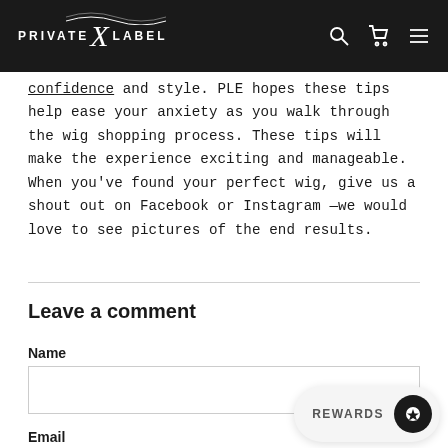PRIVATE X LABEL
confidence and style. PLE hopes these tips help ease your anxiety as you walk through the wig shopping process. These tips will make the experience exciting and manageable. When you've found your perfect wig, give us a shout out on Facebook or Instagram —we would love to see pictures of the end results.
Leave a comment
Name
Email